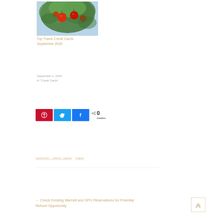[Figure (photo): Photo of red apples hanging on a tree with green leaves against a light sky background]
Top Travel Credit Cards: September 2020
September 1, 2020
In "Credit Cards"
[Figure (infographic): Social share buttons: Pinterest (red), Twitter (blue), Facebook (blue), and a share count showing 0 SHARES]
CATEGORY : CREDIT CARDS   CHASE
← Check Existing Marriott and SPG Reservations for Potential Refund